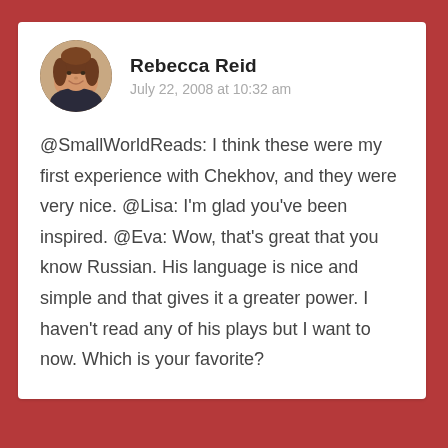[Figure (photo): Circular avatar photo of Rebecca Reid, a woman with brown/auburn hair, smiling, wearing dark clothing]
Rebecca Reid
July 22, 2008 at 10:32 am
@SmallWorldReads: I think these were my first experience with Chekhov, and they were very nice. @Lisa: I'm glad you've been inspired. @Eva: Wow, that's great that you know Russian. His language is nice and simple and that gives it a greater power. I haven't read any of his plays but I want to now. Which is your favorite?